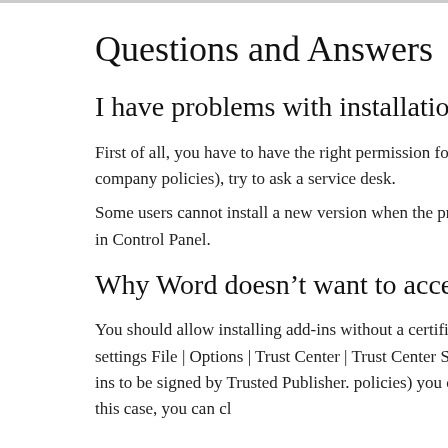Questions and Answers
I have problems with installation of the add-
First of all, you have to have the right permission for installing s instance due to company policies), try to ask a service desk.
Some users cannot install a new version when the previous one previous version in Control Panel.
Why Word doesn’t want to accept the add-
You should allow installing add-ins without a certificate signed it in Word settings File | Options | Trust Center | Trust Center Se Require Application Add-ins to be signed by Trusted Publisher. policies) you cannot change the settings. In this case, you can cl